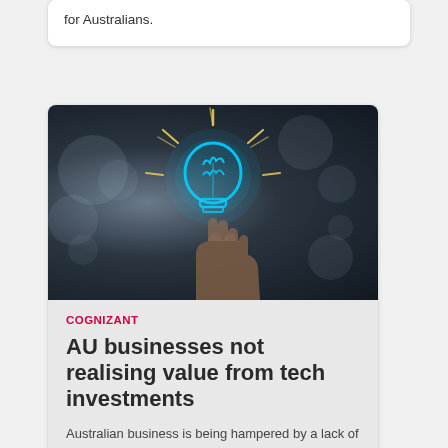for Australians.
[Figure (photo): Dark background photo with a hand holding a glowing blue brain-lightbulb with sparkles/rays around it]
COGNIZANT
AU businesses not realising value from tech investments
Australian business is being hampered by a lack of alignment between corporate strategy and execution excellence.